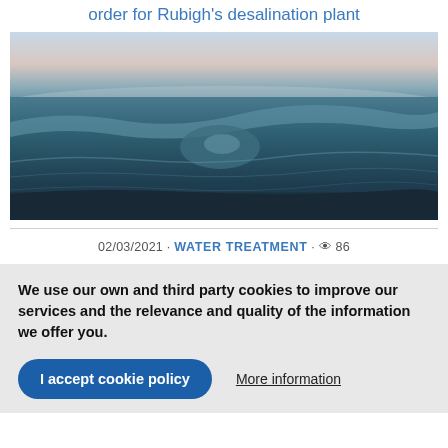order for Rubigh's desalination plant
[Figure (photo): Close-up photograph of ocean waves with blue-grey water and a pale pink and grey sky at the horizon]
02/03/2021 · WATER TREATMENT · 👁 86
We use our own and third party cookies to improve our services and the relevance and quality of the information we offer you.
I accept cookie policy
More information